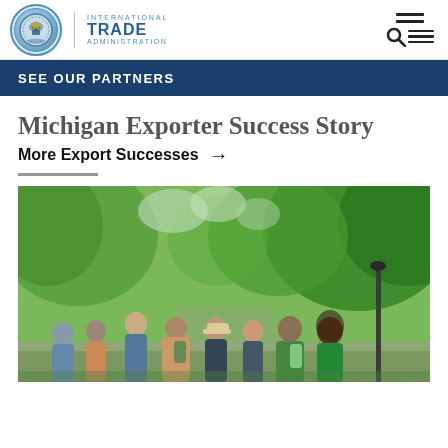International Trade Administration
SEE OUR PARTNERS
Michigan Exporter Success Story
More Export Successes →
[Figure (photo): Group of people walking away from camera along a tree-lined path with lush green trees overhead]